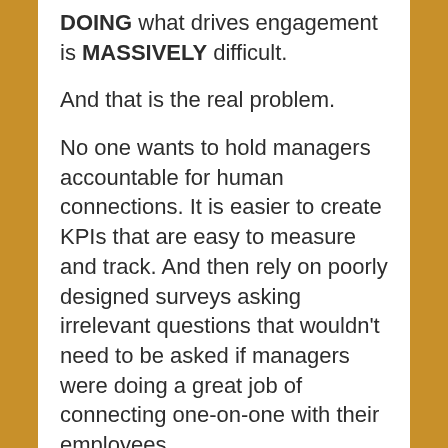DOING what drives engagement is MASSIVELY difficult.
And that is the real problem.
No one wants to hold managers accountable for human connections. It is easier to create KPIs that are easy to measure and track. And then rely on poorly designed surveys asking irrelevant questions that wouldn't need to be asked if managers were doing a great job of connecting one-on-one with their employees.